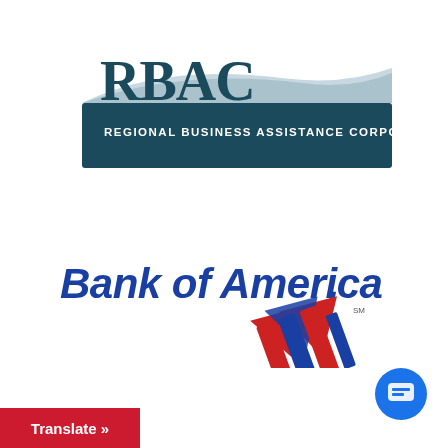[Figure (logo): RBAC Regional Business Assistance Corporation logo — dark teal background with large RBAC letters and a swoosh, subtitle text reading REGIONAL BUSINESS ASSISTANCE CORPORATION in white]
[Figure (logo): Bank of America logo — bold blue italic text 'Bank of America.' with red and blue striped flag emblem to the right]
[Figure (other): Chat popup widget showing 'We're offline / Leave a message' with a blue chat circle icon]
Translate »